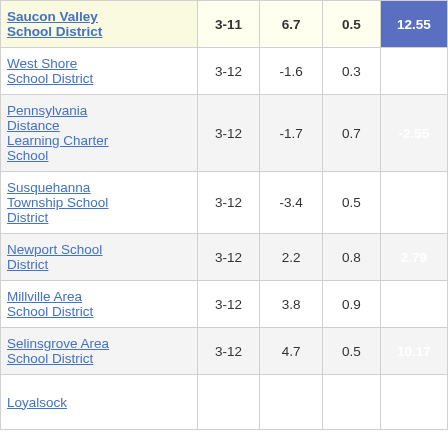| School District | Grades | Avg Change | Weight | Score |
| --- | --- | --- | --- | --- |
| Saucon Valley School District | 3-11 | 6.7 | 0.5 | 12.55 |
| West Shore School District | 3-12 | -1.6 | 0.3 | -5.93 |
| Pennsylvania Distance Learning Charter School | 3-12 | -1.7 | 0.7 | -2.55 |
| Susquehanna Township School District | 3-12 | -3.4 | 0.5 | -7.32 |
| Newport School District | 3-12 | 2.2 | 0.8 | 2.79 |
| Millville Area School District | 3-12 | 3.8 | 0.9 | 4.13 |
| Selinsgrove Area School District | 3-12 | 4.7 | 0.5 | 10.17 |
| Loyalsock ... | 3-12 |  |  |  |